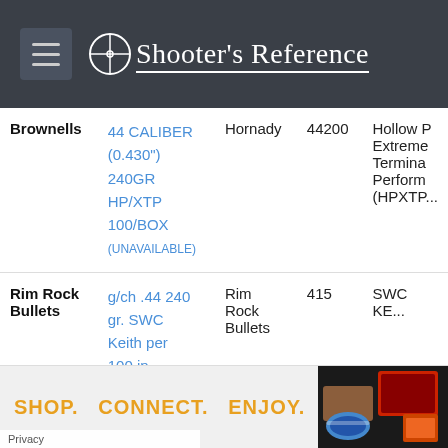Shooter's Reference
| Store | Product | Brand | SKU | Description |
| --- | --- | --- | --- | --- |
| Brownells | 44 CALIBER (0.430") 240GR HP/XTP 100/BOX (UNAVAILABLE) | Hornady | 44200 | Hollow Point Extreme Terminal Performance (HPXTP... |
| Rim Rock Bullets | g/ch .44 240 gr. SWC Keith per 100 in plastic ammo box | Rim Rock Bullets | 415 | SWC KE... |
[Figure (infographic): Advertisement banner with text SHOP. CONNECT. ENJOY. and product images]
Privacy